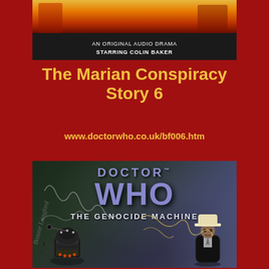[Figure (photo): Top portion of a Doctor Who Big Finish audio drama cover showing fire and figures, with text 'AN ORIGINAL AUDIO DRAMA STARRING COLIN BAKER']
The Marian Conspiracy
Story 6
www.doctorwho.co.uk/bf006.htm
[Figure (photo): Cover art for Doctor Who: The Genocide Machine Big Finish audio. Features the Doctor Who logo in blue/purple, subtitle 'THE GENOCIDE MACHINE', a Dalek on the left and a figure in a hat on the right, with signatures overlaid on the image.]